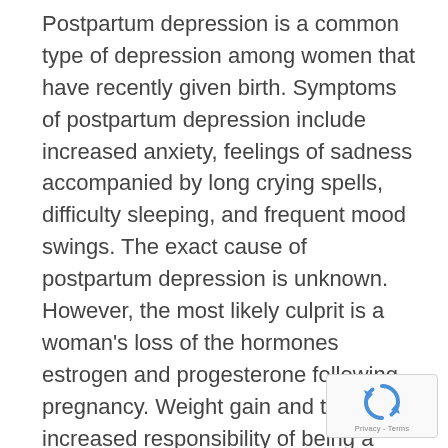Postpartum depression is a common type of depression among women that have recently given birth. Symptoms of postpartum depression include increased anxiety, feelings of sadness accompanied by long crying spells, difficulty sleeping, and frequent mood swings. The exact cause of postpartum depression is unknown. However, the most likely culprit is a woman's loss of the hormones estrogen and progesterone following pregnancy. Weight gain and the increased responsibility of being a mother could also play a role in the onset of postpartum depression.
[Figure (other): reCAPTCHA privacy widget with circular arrow icon and 'Privacy - Terms' text]